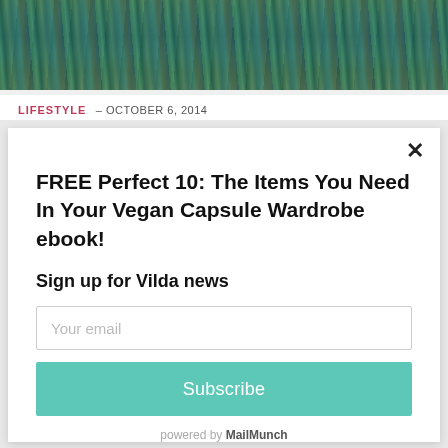[Figure (photo): Abstract blurred nature/foliage photo banner in teal, green, and blue tones at the top of the page]
LIFESTYLE – OCTOBER 6, 2014
FREE Perfect 10: The Items You Need In Your Vegan Capsule Wardrobe ebook!
Sign up for Vilda news
Your email
Subscribe
powered by MailMunch